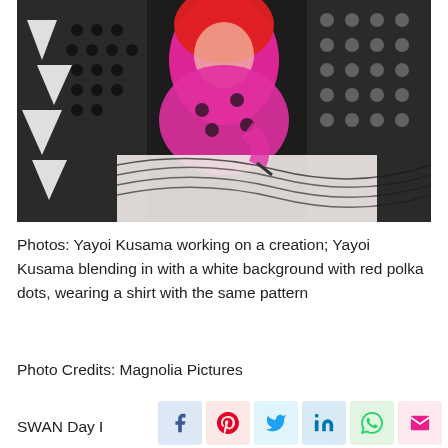[Figure (photo): Yayoi Kusama with red hair and pink polka dot outfit, working on a large artistic creation with black and white dot patterns in the background]
Photos: Yayoi Kusama working on a creation; Yayoi Kusama blending in with a white background with red polka dots, wearing a shirt with the same pattern
Photo Credits: Magnolia Pictures
SWAN Day Poster Design: Emma Werowinski